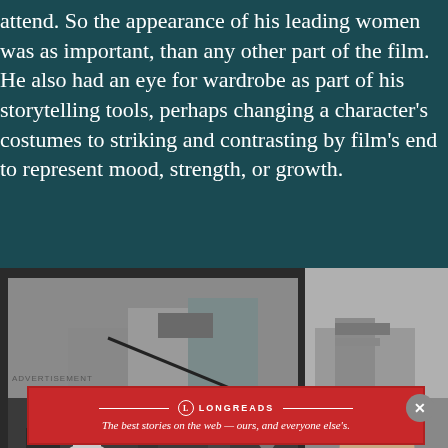attend. So the appearance of his leading women was as important, than any other part of the film. He also had an eye for wardrobe as part of his storytelling tools, perhaps changing a character's costumes to striking and contrasting by film's end to represent mood, strength, or growth.
[Figure (photo): Black and white photo of a film set on a street, with crew members, cameras on dollies, and a woman in a full skirt dress standing with a man. Buildings and equipment visible in background.]
[Figure (photo): Partial black and white photo of a heavyset man in a suit standing on a street, smiling, with storefronts visible behind him.]
The 1934 version of The Man Who Knew Too Much opened in St. Moritz, Switzerland, as this was where the Hitchcocks had spent their honeymoon. But for the remake, the location was transplanted to the bustling souks and desert landscapes of Morocco, offering a contrast to the glamorous...
ADVERTISEMENT
[Figure (logo): Longreads advertisement box with red background, circle L logo, and text: The best stories on the web — ours, and everyone else's.]